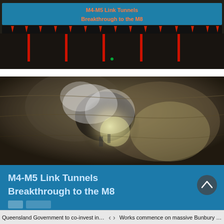[Figure (photo): Top photo of M4-M5 Link Tunnels breakthrough site with a blue banner reading 'M4-M5 Link Tunnels Breakthrough to the M8' in orange text, red triangular markers and red poles visible along the tunnel wall, dark interior tunnel environment.]
[Figure (photo): Bottom photo showing a close-up of the tunnel breakthrough with rocky walls illuminated, a blue banner at the bottom reading 'M4-M5 Link Tunnels Breakthrough to the M8' in white/light blue bold text. A circular navigation chevron button (up arrow) is visible on the right side.]
Queensland Government to co-invest in ...    <    >    Works commence on massive Bunbury O...